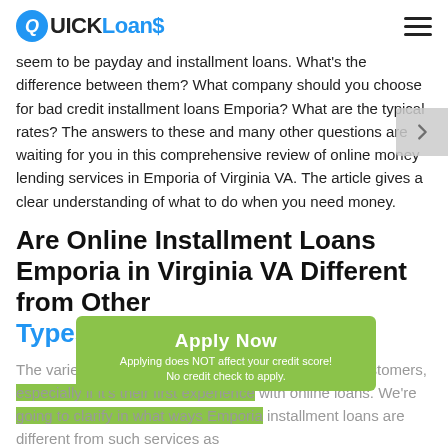QUICK Loans
seem to be payday and installment loans. What's the difference between them? What company should you choose for bad credit installment loans Emporia? What are the typical rates? The answers to these and many other questions are waiting for you in this comprehensive review of online money lending services in Emporia of Virginia VA. The article gives a clear understanding of what to do when you need money.
Are Online Installment Loans Emporia in Virginia VA Different from Other Types of Loans?
The variety of loan services could be confusing for customers, especially if it's their first experience with online loans. We're going to clarify in what ways Emporia installment loans are different from such services as
[Figure (other): Green Apply Now button overlay with text 'Apply Now', 'Applying does NOT affect your credit score!', 'No credit check to apply.']